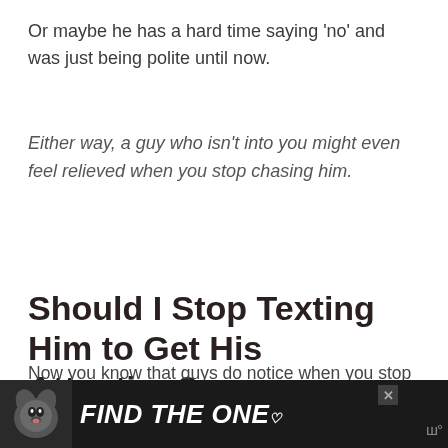Or maybe he has a hard time saying ‘no’ and was just being polite until now.
Either way, a guy who isn’t into you might even feel relieved when you stop chasing him.
Should I Stop Texting Him to Get His Attention?
Now you know that guys do notice when you stop texting them. You also know that
[Figure (other): Advertisement banner with dark background showing a dog image and text 'FIND THE ONE' with a heart symbol, plus a close button and logo.]